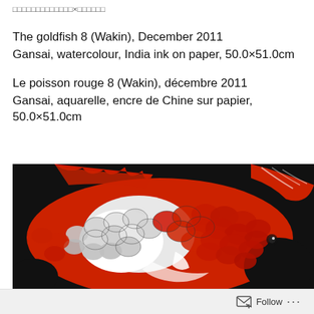□□□□□□□□□□□□□×□□□□□□
The goldfish 8 (Wakin), December 2011
Gansai, watercolour, India ink on paper, 50.0×51.0cm
Le poisson rouge 8 (Wakin), décembre 2011
Gansai, aquarelle, encre de Chine sur papier, 50.0×51.0cm
[Figure (photo): Close-up painting of a goldfish (Wakin) showing detailed red and white scales on a dark/black background, with red fins and tail visible. Painted in Gansai and watercolour with India ink.]
Follow